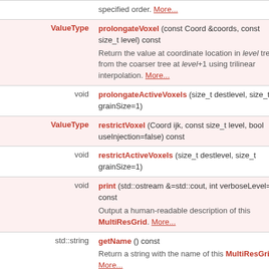| Type | Function Signature |
| --- | --- |
| ValueType | prolongateVoxel (const Coord &coords, const size_t level) const — Return the value at coordinate location in level tree from the coarser tree at level+1 using trilinear interpolation. More... |
| void | prolongateActiveVoxels (size_t destlevel, size_t grainSize=1) |
| ValueType | restrictVoxel (Coord ijk, const size_t level, bool useInjection=false) const |
| void | restrictActiveVoxels (size_t destlevel, size_t grainSize=1) |
| void | print (std::ostream &=std::cout, int verboseLevel=1) const — Output a human-readable description of this MultiResGrid. More... |
| std::string | getName () const — Return a string with the name of this MultiResGrid. More... |